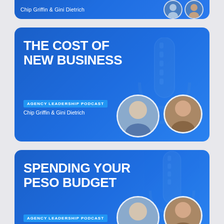[Figure (illustration): Partial podcast card at top showing 'Chip Griffin & Gini Dietrich' with two circular headshot photos on blue background]
[Figure (illustration): Agency Leadership Podcast card titled 'THE COST OF NEW BUSINESS' on blue background with microphone graphic and circular headshots of Chip Griffin and Gini Dietrich]
[Figure (illustration): Agency Leadership Podcast card titled 'SPENDING YOUR PESO BUDGET' on blue background with microphone graphic and circular headshots of Chip Griffin and Gini Dietrich, partially cut off]